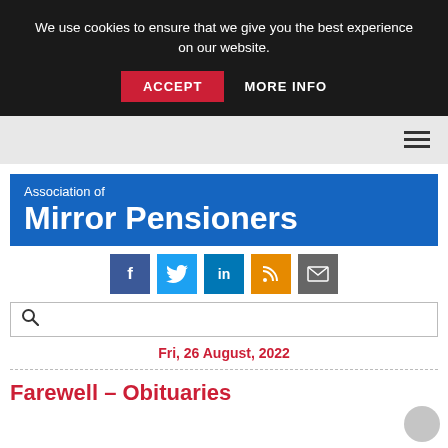We use cookies to ensure that we give you the best experience on our website.
ACCEPT
MORE INFO
[Figure (logo): Association of Mirror Pensioners logo — white text on blue background]
[Figure (infographic): Social media icons: Facebook (blue), Twitter (light blue), LinkedIn (blue), RSS (orange), Email (grey)]
Fri, 26 August, 2022
Farewell – Obituaries